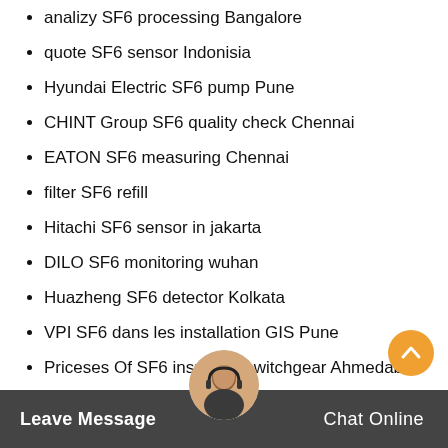analizy SF6 processing Bangalore
quote SF6 sensor Indonisia
Hyundai Electric SF6 pump Pune
CHINT Group SF6 quality check Chennai
EATON SF6 measuring Chennai
filter SF6 refill
Hitachi SF6 sensor in jakarta
DILO SF6 monitoring wuhan
Huazheng SF6 detector Kolkata
VPI SF6 dans les installation GIS Pune
Priceses Of SF6 insulated switchgear Ahmedabad
CG SF6 service in jakarta
Enervac SF6 GIS in mexico
EM Leave Message alysis jia... Chat Online